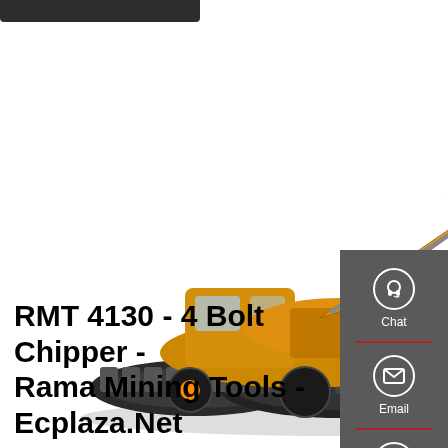[Figure (photo): Yellow SINOMACH hydraulic excavator with raised boom and bucket, shown in a product/catalog photo on white background]
RMT 4130 - 4 Bolt Chipper - Rama Mining Tools - Ecplaza.Net